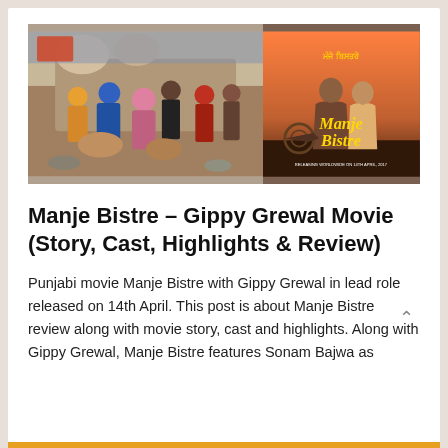[Figure (photo): Two images side by side: left shows a group of Punjabi people gathered together outdoors with colorful attire and turbans; right shows the official movie poster for 'Manje Bistre' featuring two actors.]
Manje Bistre – Gippy Grewal Movie (Story, Cast, Highlights & Review)
Punjabi movie Manje Bistre with Gippy Grewal in lead role released on 14th April. This post is about Manje Bistre review along with movie story, cast and highlights. Along with Gippy Grewal, Manje Bistre features Sonam Bajwa as